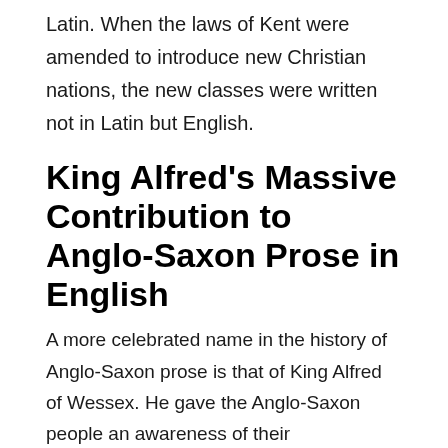Latin. When the laws of Kent were amended to introduce new Christian nations, the new classes were written not in Latin but English.
King Alfred's Massive Contribution to Anglo-Saxon Prose in English
A more celebrated name in the history of Anglo-Saxon prose is that of King Alfred of Wessex. He gave the Anglo-Saxon people an awareness of their
[Figure (other): Advertisement banner for Pure Earth organization: 'We believe the global pollution crisis can be solved. In a world where pollution doesn't stop at borders, we can all be part of the solution. JOIN US.' with Pure Earth logo.]